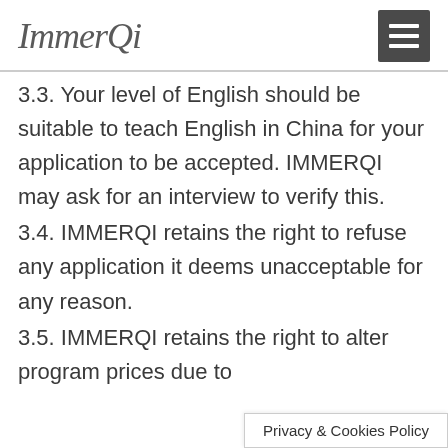ImmerQi
3.3. Your level of English should be suitable to teach English in China for your application to be accepted. IMMERQI may ask for an interview to verify this.
3.4. IMMERQI retains the right to refuse any application it deems unacceptable for any reason.
3.5. IMMERQI retains the right to alter program prices due to
Privacy & Cookies Policy